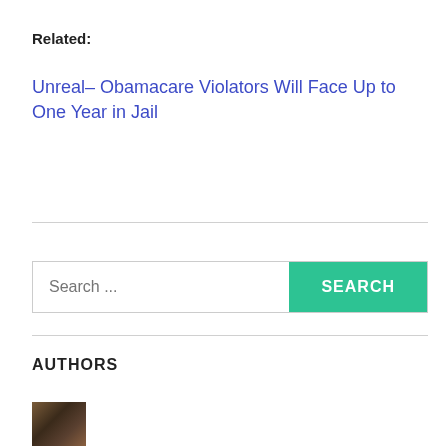Related:
Unreal– Obamacare Violators Will Face Up to One Year in Jail
AUTHORS